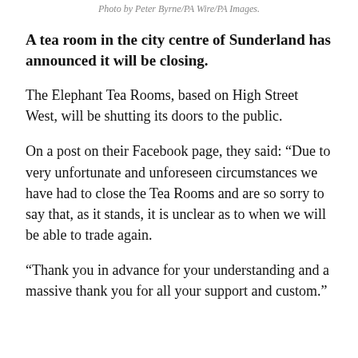Photo by Peter Byrne/PA Wire/PA Images.
A tea room in the city centre of Sunderland has announced it will be closing.
The Elephant Tea Rooms, based on High Street West, will be shutting its doors to the public.
On a post on their Facebook page, they said: “Due to very unfortunate and unforeseen circumstances we have had to close the Tea Rooms and are so sorry to say that, as it stands, it is unclear as to when we will be able to trade again.
“Thank you in advance for your understanding and a massive thank you for all your support and custom.”